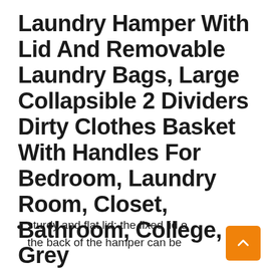Laundry Hamper With Lid And Removable Laundry Bags, Large Collapsible 2 Dividers Dirty Clothes Basket With Handles For Bedroom, Laundry Room, Closet, Bathroom, College, Grey
sturdy and flat lid: the fixed lid o the back of the hamper can be